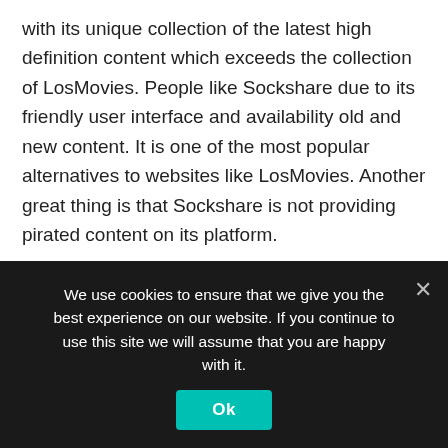with its unique collection of the latest high definition content which exceeds the collection of LosMovies. People like Sockshare due to its friendly user interface and availability old and new content. It is one of the most popular alternatives to websites like LosMovies. Another great thing is that Sockshare is not providing pirated content on its platform.
The website provides secure and active hyperlinks to a huge collection of multi-source movies and television shows. Furthermore, the advertisements are very limited and users will see a clean GUI. The content is free to watch and the website does not even ask for any registration.
We use cookies to ensure that we give you the best experience on our website. If you continue to use this site we will assume that you are happy with it.